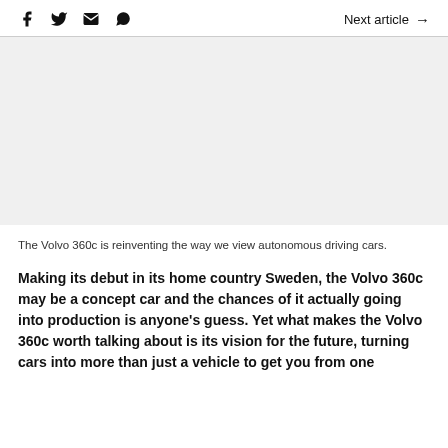Social icons: Facebook, Twitter, Email, WhatsApp | Next article →
[Figure (photo): Large image area showing the Volvo 360c autonomous concept car (image placeholder/blank area)]
The Volvo 360c is reinventing the way we view autonomous driving cars.
Making its debut in its home country Sweden, the Volvo 360c may be a concept car and the chances of it actually going into production is anyone's guess. Yet what makes the Volvo 360c worth talking about is its vision for the future, turning cars into more than just a vehicle to get you from one